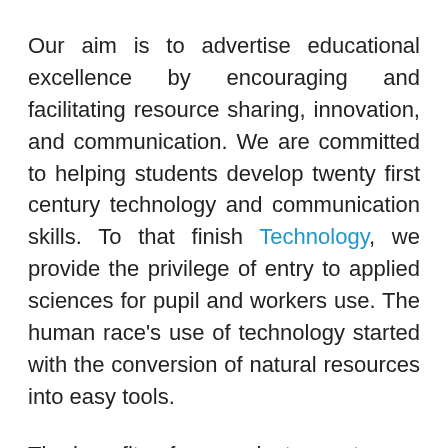Our aim is to advertise educational excellence by encouraging and facilitating resource sharing, innovation, and communication. We are committed to helping students develop twenty first century technology and communication skills. To that finish Technology, we provide the privilege of entry to applied sciences for pupil and workers use. The human race's use of technology started with the conversion of natural resources into easy tools.
The benefits of copper instruments over stone, bone, and wooden instruments have been shortly obvious to early humans, and native copper was in all probability